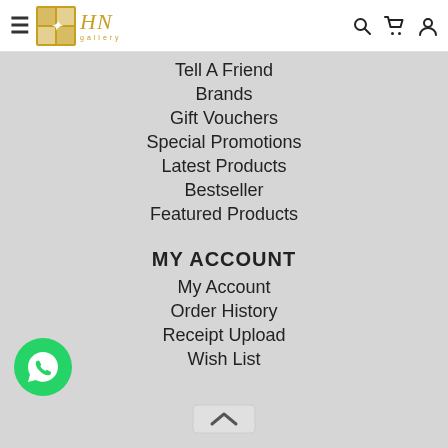HN gallery — navigation header with hamburger menu, logo, search, cart, and account icons
Tell A Friend
Brands
Gift Vouchers
Special Promotions
Latest Products
Bestseller
Featured Products
MY ACCOUNT
My Account
Order History
Receipt Upload
Wish List
[Figure (logo): WhatsApp chat button, green circle with phone/chat icon]
[Figure (other): Scroll to top button, gray rounded rectangle with up arrow]